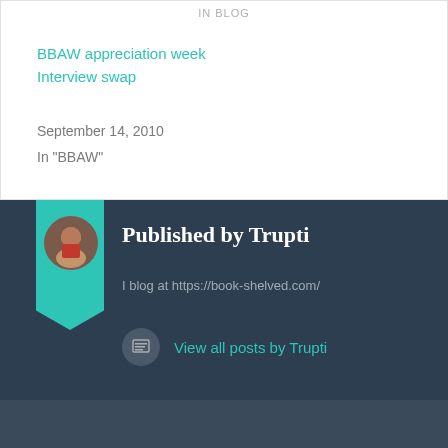IN BLOG
BBAW appreciation week
Interview swap
September 14, 2010
In "BBAW"
Published by Trupti
I blog at https://book-shelved.com/
View all posts by Trupti
January 4, 2008
BLOG, Random